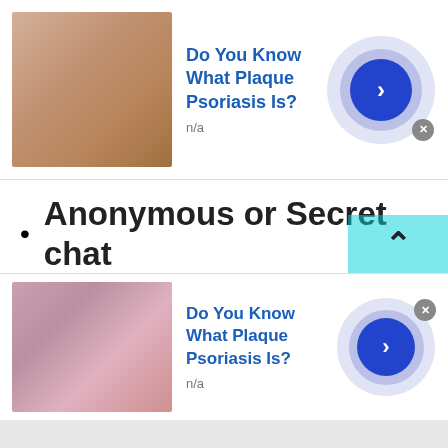[Figure (screenshot): Top advertisement banner: thumbnail image of skin/hand, bold blue title 'Do You Know What Plaque Psoriasis Is?', subtitle 'n/a', and a blue circular arrow button with close X]
Anonymous or Secret chat
Talking to strangers in Serbia is completely anonymous. TWS is a platform where you can pretend to be whoever you are. Without revealing your identity you can talk to strangers in Serbia or other countries. Yes, it is possible once you join TWS free chat or secret chat and enjoy chat random rooms without any judgment. You don't need to share your personal information. Just choose yo
[Figure (screenshot): Bottom advertisement banner: thumbnail image of skin/body part, bold blue title 'Do You Know What Plaque Psoriasis Is?', subtitle 'n/a', and a blue circular arrow button with close X]